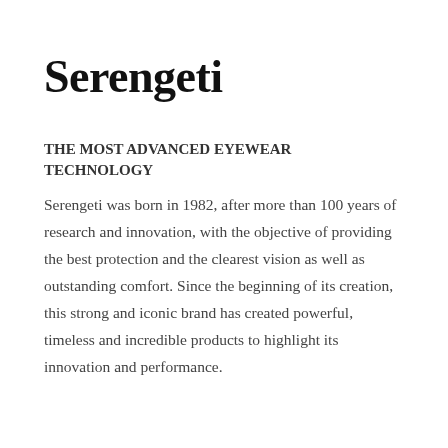Serengeti
THE MOST ADVANCED EYEWEAR TECHNOLOGY
Serengeti was born in 1982, after more than 100 years of research and innovation, with the objective of providing the best protection and the clearest vision as well as outstanding comfort. Since the beginning of its creation, this strong and iconic brand has created powerful, timeless and incredible products to highlight its innovation and performance.